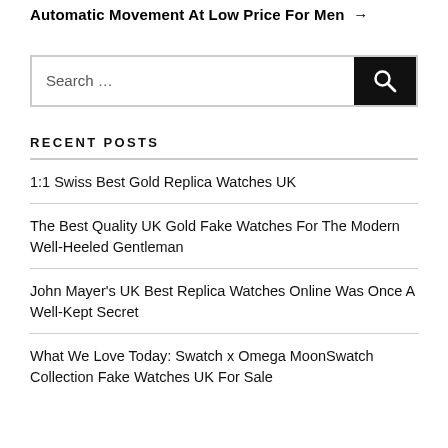Automatic Movement At Low Price For Men →
[Figure (other): Search box with text 'Search …' and a dark search button with magnifying glass icon]
RECENT POSTS
1:1 Swiss Best Gold Replica Watches UK
The Best Quality UK Gold Fake Watches For The Modern Well-Heeled Gentleman
John Mayer's UK Best Replica Watches Online Was Once A Well-Kept Secret
What We Love Today: Swatch x Omega MoonSwatch Collection Fake Watches UK For Sale